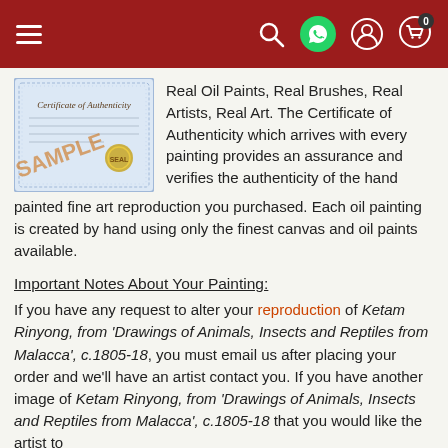Navigation bar with menu, search, WhatsApp, account, and cart icons
[Figure (illustration): Certificate of Authenticity sample document with decorative border, gold seal, and 'SAMPLE' watermark in orange]
Real Oil Paints, Real Brushes, Real Artists, Real Art. The Certificate of Authenticity which arrives with every painting provides an assurance and verifies the authenticity of the hand painted fine art reproduction you purchased. Each oil painting is created by hand using only the finest canvas and oil paints available.
Important Notes About Your Painting:
If you have any request to alter your reproduction of Ketam Rinyong, from 'Drawings of Animals, Insects and Reptiles from Malacca', c.1805-18, you must email us after placing your order and we'll have an artist contact you. If you have another image of Ketam Rinyong, from 'Drawings of Animals, Insects and Reptiles from Malacca', c.1805-18 that you would like the artist to